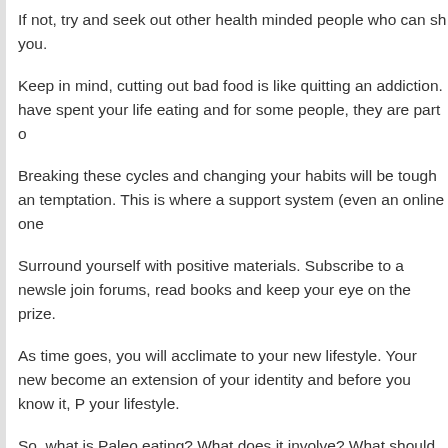If not, try and seek out other health minded people who can sh you.
Keep in mind, cutting out bad food is like quitting an addiction. have spent your life eating and for some people, they are part o
Breaking these cycles and changing your habits will be tough an temptation. This is where a support system (even an online one
Surround yourself with positive materials. Subscribe to a newsle join forums, read books and keep your eye on the prize.
As time goes, you will acclimate to your new lifestyle. Your new become an extension of your identity and before you know it, P your lifestyle.
So, what is Paleo eating? What does it involve? What should yo importantly, what shouldn't you eat?
What Do you Eat